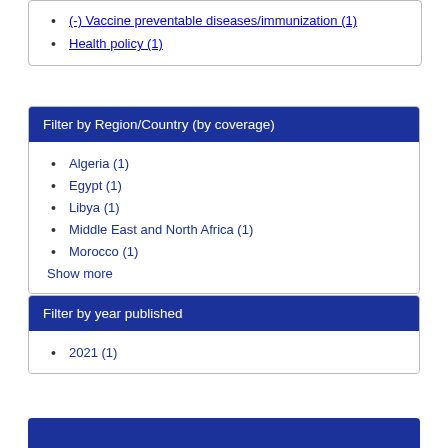(-) Vaccine preventable diseases/immunization (1)
Health policy (1)
Filter by Region/Country (by coverage)
Algeria (1)
Egypt (1)
Libya (1)
Middle East and North Africa (1)
Morocco (1)
Show more
Filter by year published
2021 (1)